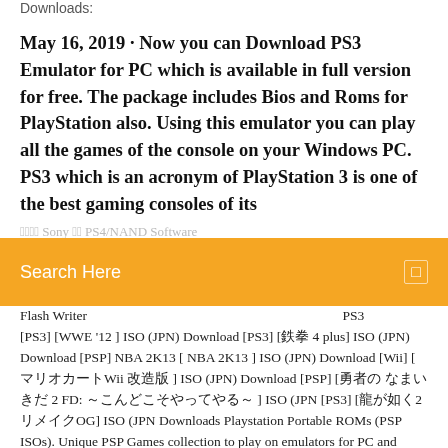Downloads:
May 16, 2019 · Now you can Download PS3 Emulator for PC which is available in full version for free. The package includes Bios and Roms for PlayStation also. Using this emulator you can play all the games of the console on your Windows PC. PS3 which is an acronym of PlayStation 3 is one of the best gaming consoles of its...
Search Here
Flash Writer　　　　　　　　　　　　　　　　　　　PS3　　　　　　
[PS3] [WWE '12 ] ISO (JPN) Download [PS3] [鉄拳 4 plus] ISO (JPN) Download [PSP] NBA 2K13 [ NBA 2K13 ] ISO (JPN) Download [Wii] [ マリオカートWii 改造版 ] ISO (JPN) Download [PSP] [勇者の くせに なまいきだ 2 FD: ～こんどこそ やってやる～ ] ISO (JPN [PS3] [龍が如く2リメイクOG] ISO (JPN Downloads Playstation Portable ROMs (PSP ISOs). Unique PSP Games collection to play on emulators for PC and mobile. May 16, 2019 · Now you can Download PS3 Emulator for PC which is available in full version for free. The package includes